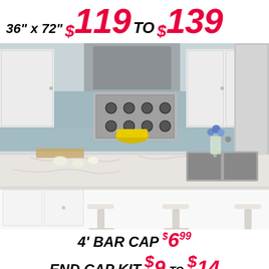36" x 72" $119 TO $139
[Figure (photo): Modern white kitchen with granite countertop, stainless steel appliances, blue glass tile backsplash, and white bar stools]
4' BAR CAP $6.99
END CAP KIT $9 TO $14